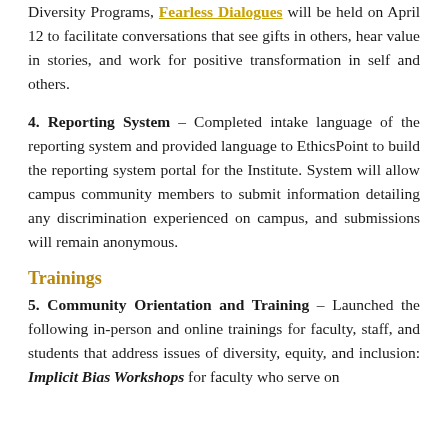Diversity Programs, Fearless Dialogues will be held on April 12 to facilitate conversations that see gifts in others, hear value in stories, and work for positive transformation in self and others.
4. Reporting System – Completed intake language of the reporting system and provided language to EthicsPoint to build the reporting system portal for the Institute. System will allow campus community members to submit information detailing any discrimination experienced on campus, and submissions will remain anonymous.
Trainings
5. Community Orientation and Training – Launched the following in-person and online trainings for faculty, staff, and students that address issues of diversity, equity, and inclusion: Implicit Bias Workshops for faculty who serve on